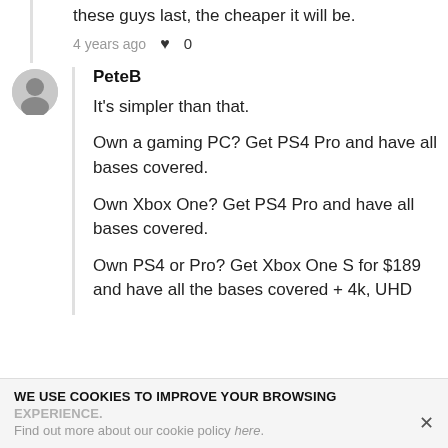these guys last, the cheaper it will be.
4 years ago  ♥ 0
PeteB
It's simpler than that.

Own a gaming PC? Get PS4 Pro and have all bases covered.

Own Xbox One? Get PS4 Pro and have all bases covered.

Own PS4 or Pro? Get Xbox One S for $189 and have all the bases covered + 4k, UHD
WE USE COOKIES TO IMPROVE YOUR BROWSING EXPERIENCE.
Find out more about our cookie policy here.